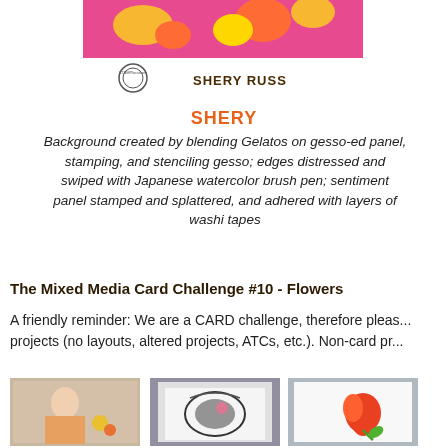[Figure (photo): Craft card with colorful floral butterfly design, STAMPlorations logo and SHERY RUSS text visible]
SHERY
Background created by blending Gelatos on gesso-ed panel, stamping, and stenciling gesso; edges distressed and swiped with Japanese watercolor brush pen; sentiment panel stamped and splattered, and adhered with layers of washi tapes
The Mixed Media Card Challenge #10 - Flowers
A friendly reminder: We are a CARD challenge, therefore please submit card projects (no layouts, altered projects, ATCs, etc.). Non-card pr...
[Figure (photo): Craft card with vintage woman and floral motif]
[Figure (photo): Craft card with black and white floral stamped design]
[Figure (photo): Craft card with red flower on white background]